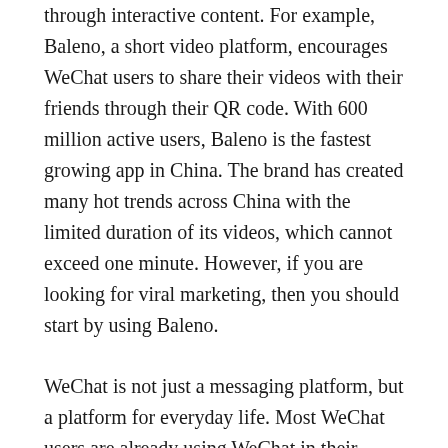through interactive content. For example, Baleno, a short video platform, encourages WeChat users to share their videos with their friends through their QR code. With 600 million active users, Baleno is the fastest growing app in China. The brand has created many hot trends across China with the limited duration of its videos, which cannot exceed one minute. However, if you are looking for viral marketing, then you should start by using Baleno.
WeChat is not just a messaging platform, but a platform for everyday life. Most WeChat users are already using WeChat in their everyday lives. By creating mini-programs and offering them to customers through the app, your brand will increase visibility and reach in the